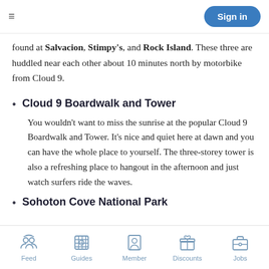Sign in
found at Salvacion, Stimpy's, and Rock Island. These three are huddled near each other about 10 minutes north by motorbike from Cloud 9.
Cloud 9 Boardwalk and Tower
You wouldn't want to miss the sunrise at the popular Cloud 9 Boardwalk and Tower. It's nice and quiet here at dawn and you can have the whole place to yourself. The three-storey tower is also a refreshing place to hangout in the afternoon and just watch surfers ride the waves.
Sohoton Cove National Park
Feed   Guides   Member   Discounts   Jobs